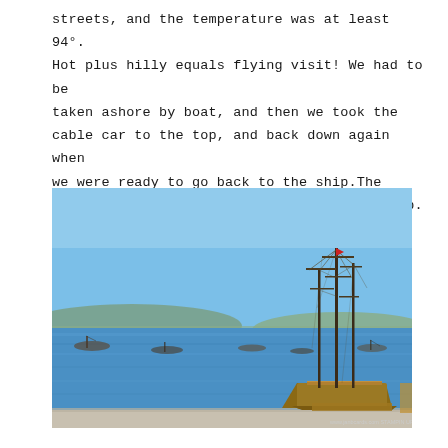streets, and the temperature was at least 94°. Hot plus hilly equals flying visit! We had to be taken ashore by boat, and then we took the cable car to the top, and back down again when we were ready to go back to the ship.The following shots are from this Santorini trip.
[Figure (photo): Photograph of a harbor scene in Santorini, Greece. A large wooden tall ship with multiple masts dominates the center-right of the image. Several smaller boats are moored in the blue water. Hills and land are visible in the background under a clear blue sky. A concrete dock/pier is visible in the foreground. A small watermark reads 'www.janbcards.com STAMPIN UP! b' in the lower right corner.]